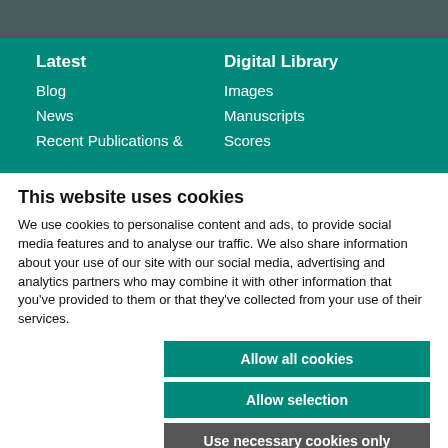Latest
Blog
News
Recent Publications &
Digital Library
Images
Manuscripts
Scores
This website uses cookies
We use cookies to personalise content and ads, to provide social media features and to analyse our traffic. We also share information about your use of our site with our social media, advertising and analytics partners who may combine it with other information that you've provided to them or that they've collected from your use of their services.
Allow all cookies
Allow selection
Use necessary cookies only
Necessary  Preferences  Statistics  Marketing  Show details